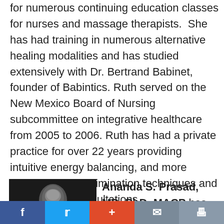for numerous continuing education classes for nurses and massage therapists.  She has had training in numerous alternative healing modalities and has studied extensively with Dr. Bertrand Babinet, founder of Babintics. Ruth served on the New Mexico Board of Nursing subcommittee on integrative healthcare from 2005 to 2006. Ruth has had a private practice for over 22 years providing intuitive energy balancing, and more recently allergy elimination techniques and naturopathic consultations.
[Figure (photo): Black and white headshot photo of Ananda S. Prasad]
Ananda S. Prasad, MD, PhD, MACP has been at
f  t  +  mail  print